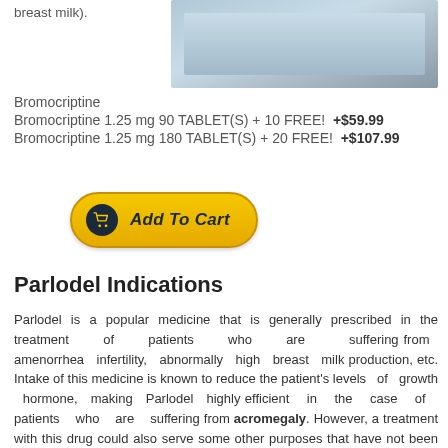breast milk).
[Figure (photo): Product photo of Bromocriptine tablets, bluish-grey background]
Bromocriptine 1.25 mg 90 TABLET(S) + 10 FREE!  +$59.99
Bromocriptine 1.25 mg 180 TABLET(S) + 20 FREE!  +$107.99
[Figure (other): Add To Cart button with shopping cart icon]
Parlodel Indications
Parlodel is a popular medicine that is generally prescribed in the treatment of patients who are suffering from amenorrhea infertility, abnormally high breast milk production, etc. Intake of this medicine is known to reduce the patient's levels of growth hormone, making Parlodel highly efficient in the case of patients who are suffering from acromegaly. However, a treatment with this drug could also serve some other purposes that have not been listed here. Ask your physician for further information.